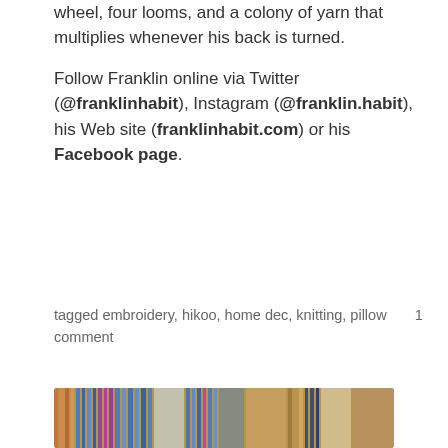wheel, four looms, and a colony of yarn that multiplies whenever his back is turned.
Follow Franklin online via Twitter (@franklinhabit), Instagram (@franklin.habit), his Web site (franklinhabit.com) or his Facebook page.
tagged embroidery, hikoo, home dec, knitting, pillow     1 comment
[Figure (photo): Close-up photograph of a loom with colorful threads including orange, blue, purple, and pink yarns arranged in rows]